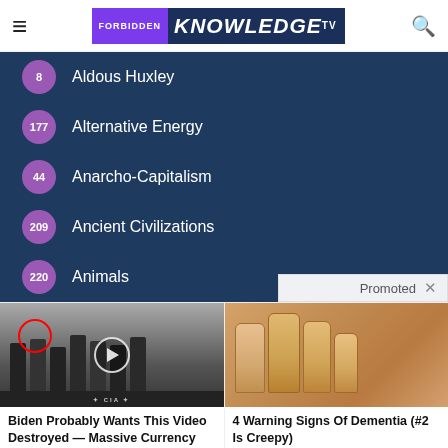FORBIDDEN KNOWLEDGE TV
8 Aldous Huxley
177 Alternative Energy
44 Anarcho-Capitalism
209 Ancient Civilizations
220 Animals
Promoted ×
[Figure (photo): Group of men in suits standing together, with a red circle highlighting one person. CIA logo visible at bottom. Play button overlay in center.]
Biden Probably Wants This Video Destroyed — Massive Currency Upheaval Has Started
Watch The Video
[Figure (photo): Close-up photo of fingernails, yellowed, on a hand.]
4 Warning Signs Of Dementia (#2 Is Creepy)
Find Out More